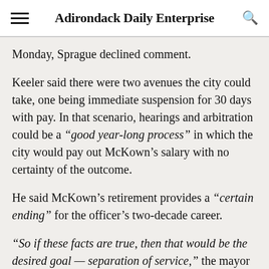Adirondack Daily Enterprise
Monday, Sprague declined comment.
Keeler said there were two avenues the city could take, one being immediate suspension for 30 days with pay. In that scenario, hearings and arbitration could be a “good year-long process” in which the city would pay out McKown’s salary with no certainty of the outcome.
He said McKown’s retirement provides a “certain ending” for the officer’s two-decade career.
“So if these facts are true, then that would be the desired goal — separation of service,” the mayor said, “and the most certain way to get there, the easiest way to get there, the least expensive way to